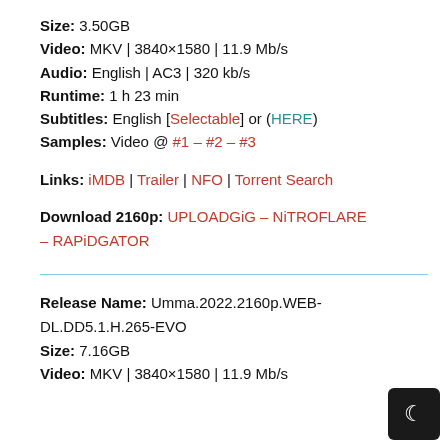Size: 3.50GB
Video: MKV | 3840×1580 | 11.9 Mb/s
Audio: English | AC3 | 320 kb/s
Runtime: 1 h 23 min
Subtitles: English [Selectable] or (HERE)
Samples: Video @ #1 – #2 – #3
Links: iMDB | Trailer | NFO | Torrent Search
Download 2160p: UPLOADGiG – NiTROFLARE – RAPiDGATOR
Release Name: Umma.2022.2160p.WEB-DL.DD5.1.H.265-EVO
Size: 7.16GB
Video: MKV | 3840×1580 | 11.9 Mb/s